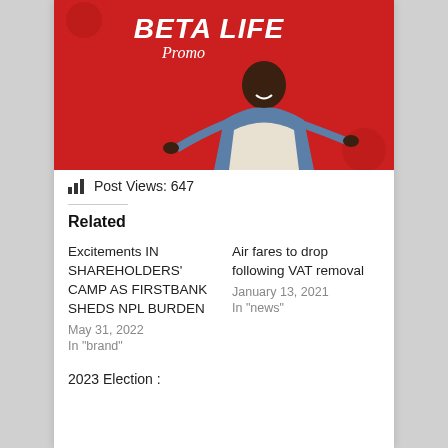[Figure (photo): Advertisement banner with red background showing a man pointing forward and text 'BETA LIFE Promo']
Post Views: 647
Related
Excitements IN SHAREHOLDERS' CAMP AS FIRSTBANK SHEDS NPL BURDEN
May 31, 2022
In "brand"
Air fares to drop following VAT removal
January 13, 2021
In "news"
2023 Election :